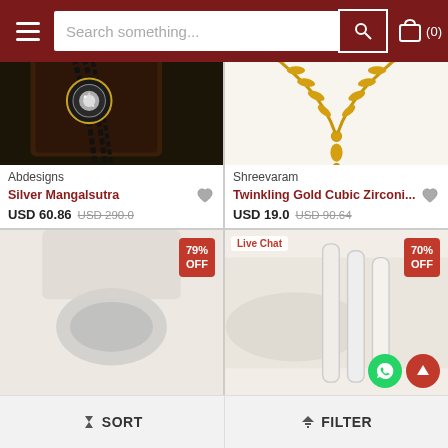[Figure (screenshot): E-commerce jewelry store header with hamburger menu, search bar with placeholder text 'Search something...', search button, and shopping cart icon with (0) count]
[Figure (photo): Dark background photo of a silver mangalsutra necklace with circular diamond pendant and black beads on a brown jewelry box]
Abdesigns
Silver Mangalsutra
USD 60.86 USD 290.0
[Figure (photo): White background photo of a gold wheat/leaf chain necklace (Twinkling Gold Cubic Zirconia) with dangling pendant]
Shreevaram
Twinkling Gold Cubic Zirconi...
USD 19.0 USD 90.64
[Figure (photo): Bottom left product card with light gray/beige background, 79% OFF discount badge]
[Figure (photo): Bottom right product card with cream background, Live Chat label, 70% OFF badge, WhatsApp icon, and up arrow button]
SORT   FILTER